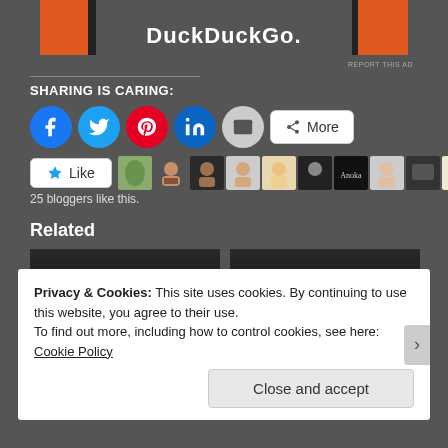[Figure (other): DuckDuckGo advertisement banner with orange blocks and dark bars on sides]
SHARING IS CARING:
[Figure (infographic): Social share buttons: Facebook (blue circle), Twitter (blue circle), Pinterest (red circle), LinkedIn (blue circle), Email (grey circle), More button (white rounded rectangle)]
[Figure (infographic): Like button and 25 blogger avatar thumbnails]
25 bloggers like this.
Related
[Figure (photo): Two related article thumbnail images side by side]
Privacy & Cookies: This site uses cookies. By continuing to use this website, you agree to their use.
To find out more, including how to control cookies, see here: Cookie Policy